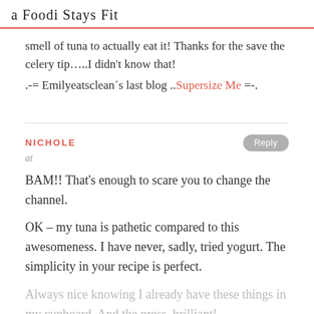a Foodi Stays Fit
smell of tuna to actually eat it! Thanks for the save the celery tip…..I didn't know that!
.-= Emilyeatsclean's last blog .. Supersize Me =-.
NICHOLE
at
BAM!! That's enough to scare you to change the channel.
OK – my tuna is pathetic compared to this awesomeness. I have never, sadly, tried yogurt. The simplicity in your recipe is perfect.
Always nice knowing I already have these things in my cupboard. And the press, brilliant!